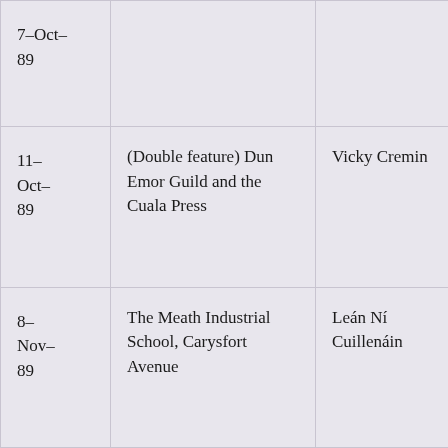| 7-Oct-89 |  |  |
| 11-Oct-89 | (Double feature) Dun Emor Guild and the Cuala Press | Vicky Cremin |
| 8-Nov-89 | The Meath Industrial School, Carysfort Avenue | Leán Ní Cuillenáin |